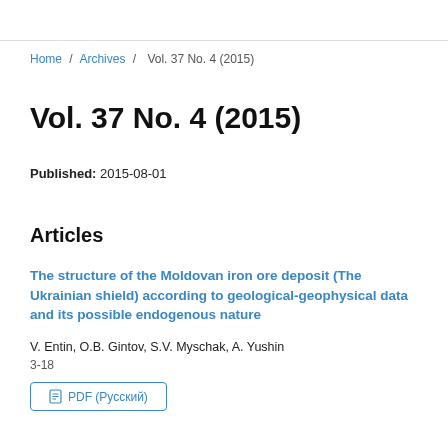Home / Archives / Vol. 37 No. 4 (2015)
Vol. 37 No. 4 (2015)
Published: 2015-08-01
Articles
The structure of the Moldovan iron ore deposit (The Ukrainian shield) according to geological-geophysical data and its possible endogenous nature
V. Entin, O.B. Gintov, S.V. Myschak, A. Yushin
3-18
PDF (Русский)